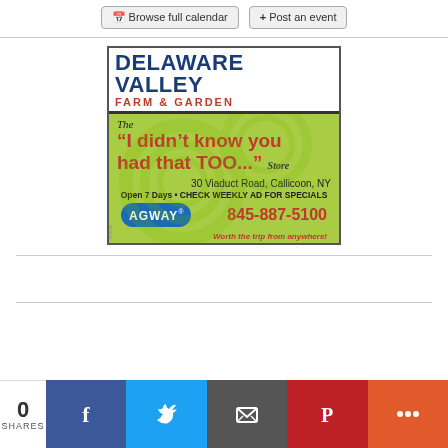Browse full calendar   Post an event
[Figure (illustration): Delaware Valley Farm & Garden advertisement. Green background with circular swirl design. Header reads DELAWARE VALLEY FARM & GARDEN. Body text: The "I didn't know you had that TOO..." Store. 30 Viaduct Road, Callicoon, NY. Open 7 Days • CHECK WEEKLY AD FOR SPECIALS. AGWAY logo. Phone: 845-887-5100. Worth the trip from anywhere!]
0 SHARES
[Figure (infographic): Social share bar with Facebook, Twitter, Email, Pinterest, and More buttons]